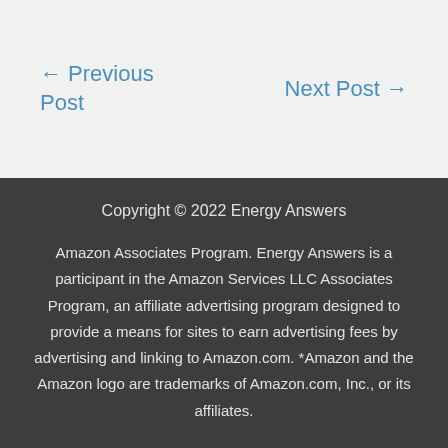← Previous Post
Next Post →
Copyright © 2022 Energy Answers
Amazon Associates Program. Energy Answers is a participant in the Amazon Services LLC Associates Program, an affiliate advertising program designed to provide a means for sites to earn advertising fees by advertising and linking to Amazon.com. *Amazon and the Amazon logo are trademarks of Amazon.com, Inc., or its affiliates.